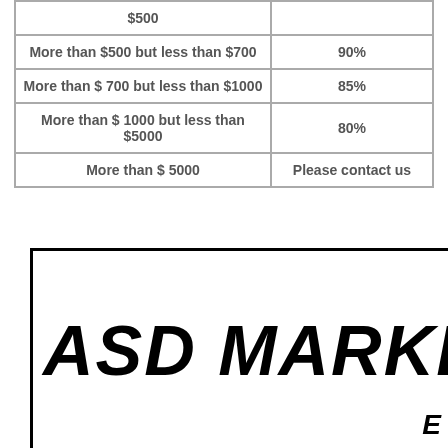| Amount | Percentage |
| --- | --- |
| $500 |  |
| More than $500 but less than $700 | 90% |
| More than $ 700 but less than $1000 | 85% |
| More than $ 1000 but less than $5000 | 80% |
| More than $ 5000 | Please contact us |
[Figure (logo): ASD MARKET logo in large bold italic text inside a bordered box, with 'E' visible at bottom right]